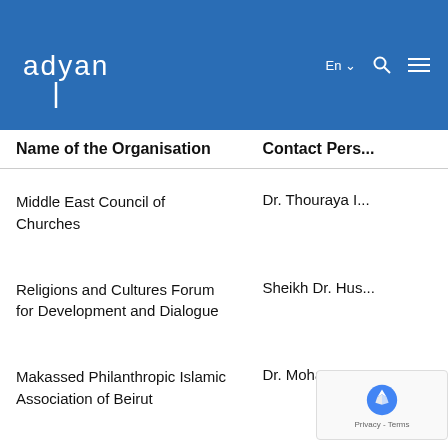adyan | En | [search] [menu]
| Name of the Organisation | Contact Pers... |
| --- | --- |
| Middle East Council of Churches | Dr. Thouraya I... |
| Religions and Cultures Forum for Development and Dialogue | Sheikh Dr. Hus... |
| Makassed Philanthropic Islamic Association of Beirut | Dr. Mohamma... |
| Imam Sadr Foundation | Mr. Ali... |
| Al Irfan Foundation | She... |